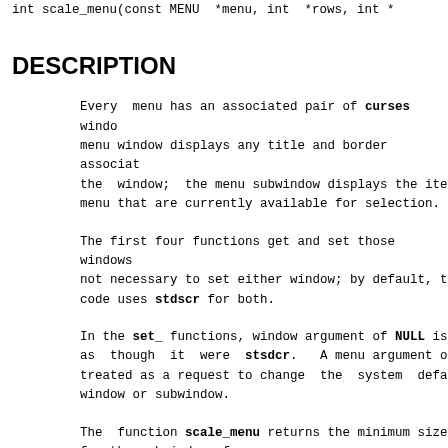int scale_menu(const MENU  *menu, int  *rows, int *
DESCRIPTION
Every  menu has an associated pair of curses windows. The menu window displays any title and border associated with the  window;  the menu subwindow displays the items of the menu that are currently available for selection.
The first four functions get and set those windows. It is not necessary to set either window; by default, the menu code uses stdscr for both.
In the set_ functions, window argument of NULL is treated as though it were stsdcr.   A menu argument of NULL is treated as a request to change  the  system  default  window or subwindow.
The  function scale_menu returns the minimum size needed for the subwindow of menu.
RETURN VALUE
Routines that return pointers return NULL on error